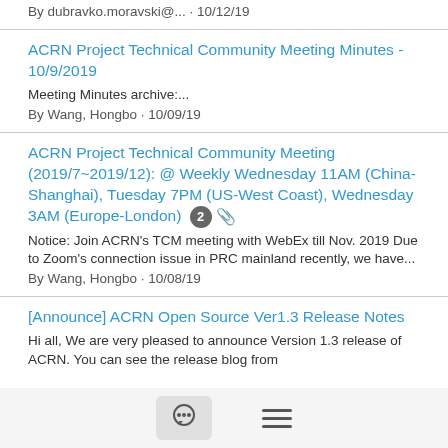By dubravko.moravski@... · 10/12/19
ACRN Project Technical Community Meeting Minutes - 10/9/2019
Meeting Minutes archive:...
By Wang, Hongbo · 10/09/19
ACRN Project Technical Community Meeting (2019/7~2019/12): @ Weekly Wednesday 11AM (China-Shanghai), Tuesday 7PM (US-West Coast), Wednesday 3AM (Europe-London)
Notice: Join ACRN's TCM meeting with WebEx till Nov. 2019 Due to Zoom's connection issue in PRC mainland recently, we have...
By Wang, Hongbo · 10/08/19
[Announce] ACRN Open Source Ver1.3 Release Notes
Hi all, We are very pleased to announce Version 1.3 release of ACRN. You can see the release blog from